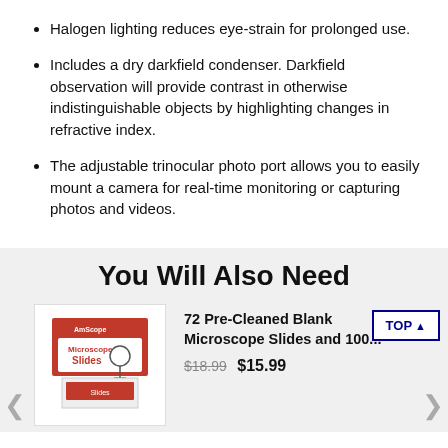Halogen lighting reduces eye-strain for prolonged use.
Includes a dry darkfield condenser. Darkfield observation will provide contrast in otherwise indistinguishable objects by highlighting changes in refractive index.
The adjustable trinocular photo port allows you to easily mount a camera for real-time monitoring or capturing photos and videos.
You Will Also Need
[Figure (photo): Product image of Microscope Slides box with microscope illustration]
72 Pre-Cleaned Blank Microscope Slides and 100... $18.99 $15.99